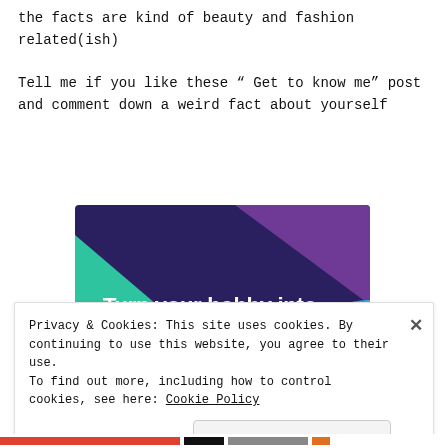the facts are kind of beauty and fashion related(ish)
Tell me if you like these " Get to know me" post and comment down a weird fact about yourself
[Figure (illustration): Advertisement banner with dark purple/navy background, teal triangle on the left, light blue circle arc on the right, purple triangle top right. White bold text reads: Turn your hobby into a business in 8 steps]
Privacy & Cookies: This site uses cookies. By continuing to use this website, you agree to their use. To find out more, including how to control cookies, see here: Cookie Policy
Close and accept